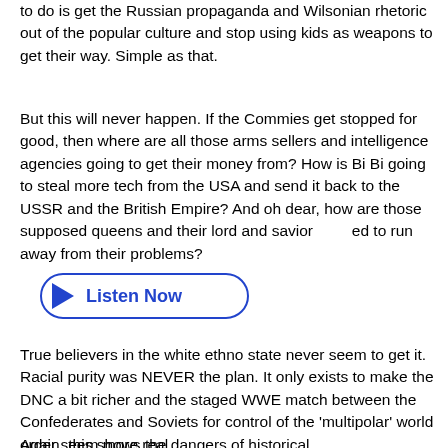to do is get the Russian propaganda and Wilsonian rhetoric out of the popular culture and stop using kids as weapons to get their way. Simple as that.
But this will never happen. If the Commies get stopped for good, then where are all those arms sellers and intelligence agencies going to get their money from? How is Bi Bi going to steal more tech from the USA and send it back to the USSR and the British Empire? And oh dear, how are those supposed queens and their lord and savior [need]ed to run away from their problems?
[Figure (other): A blue-outlined rounded rectangle button with a blue play triangle icon on the left and blue bold text 'Listen Now' on the right.]
True believers in the white ethno state never seem to get it. Racial purity was NEVER the plan. It only exists to make the DNC a bit richer and the staged WWE match between the Confederates and Soviets for control of the 'multipolar' world order seem more real.
Again, this shows the dangers of historical